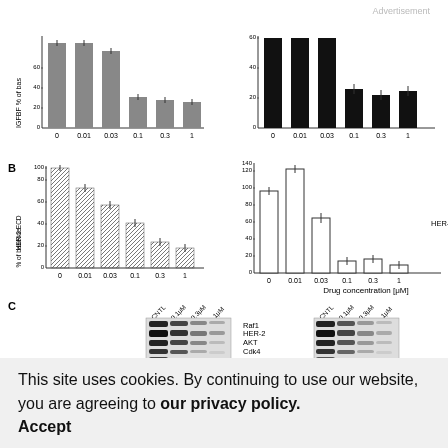Advertisement
[Figure (bar-chart): IGFBF % of baseline (left panel)]
[Figure (bar-chart): IGFBF % of baseline (right panel)]
[Figure (bar-chart): B HER-2 ECD % of baseline (left panel)]
[Figure (bar-chart): HER-2 ECD % of baseline (right panel)]
[Figure (other): Western blot panel C showing protein bands for Raf1, HER-2, AKT, Cdk4 at CNTL, 0.1μM, 0.3μM, 1μM concentrations, two cell line panels side by side]
This site uses cookies. By continuing to use our website, you are agreeing to our privacy policy. Accept